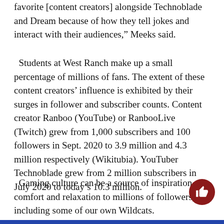favorite [content creators] alongside Technoblade and Dream because of how they tell jokes and interact with their audiences,” Meeks said.
Students at West Ranch make up a small percentage of millions of fans. The extent of these content creators’ influence is exhibited by their surges in follower and subscriber counts. Content creator Ranboo (YouTube) or RanbooLive (Twitch) grew from 1,000 subscribers and 100 followers in Sept. 2020 to 3.9 million and 4.3 million respectively (Wikitubia). YouTuber Technoblade grew from 2 million subscribers in July 2020 to today’s 10.3 million.
Gaming culture can be a source of inspiration, comfort and relaxation to millions of followers, including some of our own Wildcats.